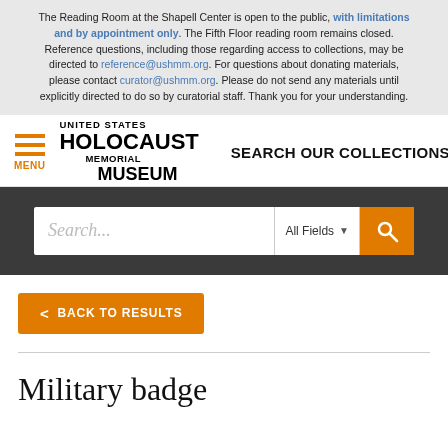The Reading Room at the Shapell Center is open to the public, with limitations and by appointment only. The Fifth Floor reading room remains closed. Reference questions, including those regarding access to collections, may be directed to reference@ushmm.org. For questions about donating materials, please contact curator@ushmm.org. Please do not send any materials until explicitly directed to do so by curatorial staff. Thank you for your understanding.
[Figure (logo): United States Holocaust Memorial Museum logo with hamburger menu icon and MENU label in orange, and SEARCH OUR COLLECTIONS text]
[Figure (screenshot): Search bar with placeholder text 'Search...', All Fields dropdown, and orange search button]
< BACK TO RESULTS
Military badge